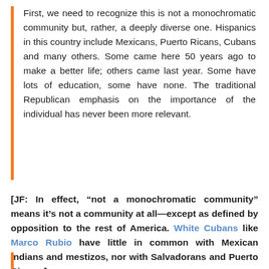First, we need to recognize this is not a monochromatic community but, rather, a deeply diverse one. Hispanics in this country include Mexicans, Puerto Ricans, Cubans and many others. Some came here 50 years ago to make a better life; others came last year. Some have lots of education, some have none. The traditional Republican emphasis on the importance of the individual has never been more relevant.
[JF: In effect, “not a monochromatic community” means it’s not a community at all—except as defined by opposition to the rest of America. White Cubans like Marco Rubio have little in common with Mexican Indians and mestizos, nor with Salvadorans and Puerto Ricans.]